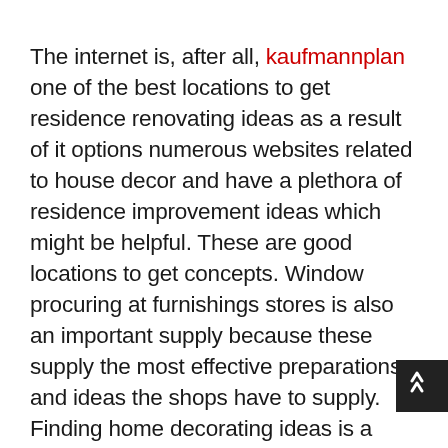The internet is, after all, kaufmannplan one of the best locations to get residence renovating ideas as a result of it options numerous websites related to house decor and have a plethora of residence improvement ideas which might be helpful. These are good locations to get concepts. Window procuring at furnishings stores is also an important supply because these supply the most effective preparations and ideas the shops have to supply. Finding home decorating ideas is a superb thing but free home decorating ideas is even higher. The magazine is a good supply without cost home decorating concepts because it offers you different tips with exact angles. Furniture or departmental stores are also an effective way for getting new ideas for decoration. Pets as presents seem like a fantastic concept, however the logistics of owning a pet got here be very tough. The moral of the story: don't re-present presents, particularly if you